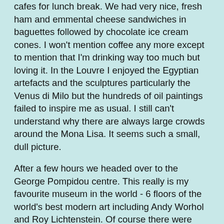cafes for lunch break. We had very nice, fresh ham and emmental cheese sandwiches in baguettes followed by chocolate ice cream cones. I won't mention coffee any more except to mention that I'm drinking way too much but loving it. In the Louvre I enjoyed the Egyptian artefacts and the sculptures particularly the Venus di Milo but the hundreds of oil paintings failed to inspire me as usual. I still can't understand why there are always large crowds around the Mona Lisa. It seems such a small, dull picture.
After a few hours we headed over to the George Pompidou centre. This really is my favourite museum in the world - 6 floors of the world's best modern art including Andy Worhol and Roy Lichtenstein. Of course there were several "works of art" that I thought were not worthy of public display. Anyone can paint a canvas entirely one shade of blue can't they? and what's so clever about making rectangles from piles of clothes on the floor? My kids have been doing that all their lives. I walked through rooms alternately muttering "Garbage!" and "Genius!". After all the walking the kids were hungry again I my feet were requesting a break so we left the building and headed out across the square to find a quiet pavement café away from the crowds. This time we all had crepes (mine was with banana and chocolate) and ate them looking across a square containing a little pond with mechanised